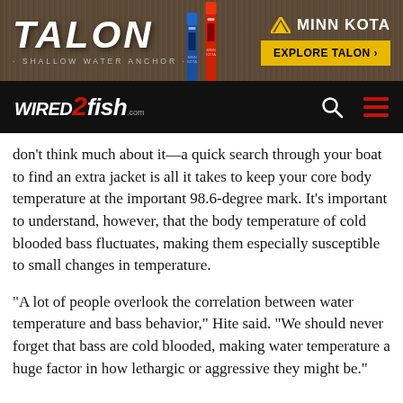[Figure (other): Talon Shallow Water Anchor advertisement banner by Minn Kota with product devices shown and 'EXPLORE TALON' button]
wired2fish.com navigation bar with search and menu icons
don't think much about it—a quick search through your boat to find an extra jacket is all it takes to keep your core body temperature at the important 98.6-degree mark. It's important to understand, however, that the body temperature of cold blooded bass fluctuates, making them especially susceptible to small changes in temperature.
“A lot of people overlook the correlation between water temperature and bass behavior,” Hite said. “We should never forget that bass are cold blooded, making water temperature a huge factor in how lethargic or aggressive they might be.”